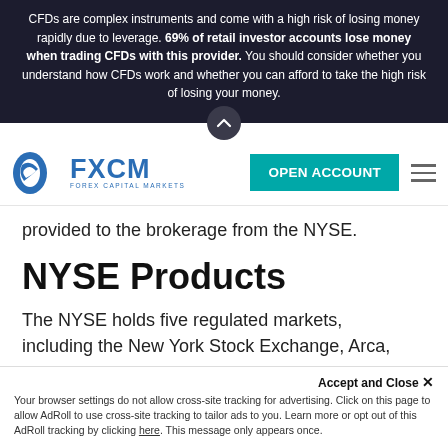CFDs are complex instruments and come with a high risk of losing money rapidly due to leverage. 69% of retail investor accounts lose money when trading CFDs with this provider. You should consider whether you understand how CFDs work and whether you can afford to take the high risk of losing your money.
[Figure (logo): FXCM Forex Capital Markets logo with blue swoosh icon and OPEN ACCOUNT teal button and hamburger menu]
provided to the brokerage from the NYSE.
NYSE Products
The NYSE holds five regulated markets, including the New York Stock Exchange, Arca,
MKT and Amex Options. The NYSE lis
Your browser settings do not allow cross-site tracking for advertising. Click on this page to allow AdRoll to use cross-site tracking to tailor ads to you. Learn more or opt out of this AdRoll tracking by clicking here. This message only appears once.